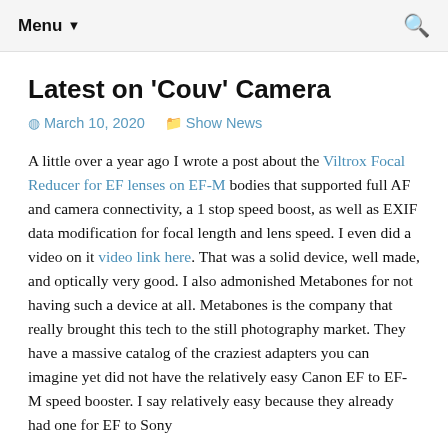Menu ▼
Latest on 'Couv' Camera
March 10, 2020   Show News
A little over a year ago I wrote a post about the Viltrox Focal Reducer for EF lenses on EF-M bodies that supported full AF and camera connectivity, a 1 stop speed boost, as well as EXIF data modification for focal length and lens speed. I even did a video on it video link here. That was a solid device, well made, and optically very good. I also admonished Metabones for not having such a device at all. Metabones is the company that really brought this tech to the still photography market. They have a massive catalog of the craziest adapters you can imagine yet did not have the relatively easy Canon EF to EF-M speed booster. I say relatively easy because they already had one for EF to Sony